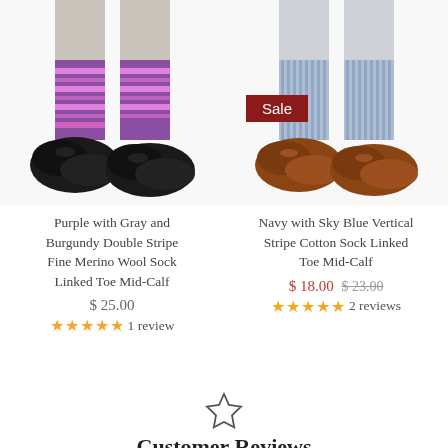[Figure (photo): Product photo of purple with gray and burgundy double stripe merino wool socks worn with black loafer shoes]
[Figure (photo): Product photo of navy with sky blue vertical stripe cotton socks worn with brown loafer shoes, with a 'Sale' badge overlay]
Purple with Gray and Burgundy Double Stripe Fine Merino Wool Sock Linked Toe Mid-Calf
$ 25.00
★★★★★ 1 review
Navy with Sky Blue Vertical Stripe Cotton Sock Linked Toe Mid-Calf
$ 18.00  $ 23.00
★★★★★ 2 reviews
Customer Reviews